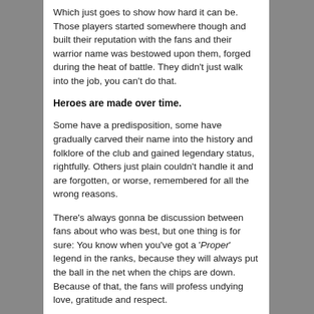Which just goes to show how hard it can be. Those players started somewhere though and built their reputation with the fans and their warrior name was bestowed upon them, forged during the heat of battle. They didn't just walk into the job, you can't do that.
Heroes are made over time.
Some have a predisposition, some have gradually carved their name into the history and folklore of the club and gained legendary status, rightfully. Others just plain couldn't handle it and are forgotten, or worse, remembered for all the wrong reasons.
There's always gonna be discussion between fans about who was best, but one thing is for sure: You know when you've got a 'Proper' legend in the ranks, because they will always put the ball in the net when the chips are down. Because of that, the fans will profess undying love, gratitude and respect.
They may even get a statue?